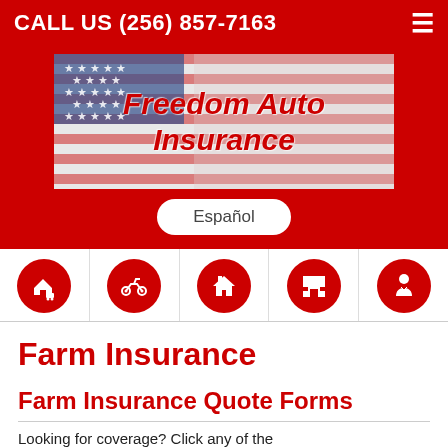CALL US (256) 857-7163
[Figure (logo): Freedom Auto Insurance logo on American flag background]
Español
[Figure (infographic): Navigation icon row with 5 red circle icons: home+auto, motorcycle, home, storefront, person with heart]
Farm Insurance
Farm Insurance Quote Forms
Looking for coverage? Click any of the